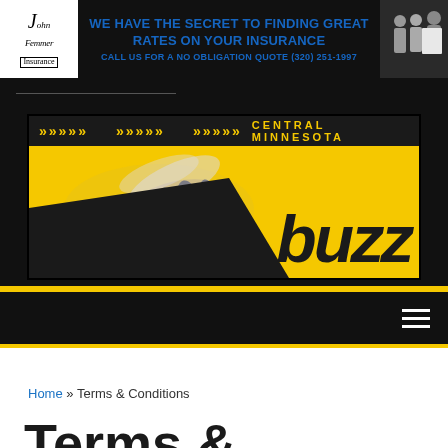[Figure (other): John Femmer Insurance advertisement banner: 'WE HAVE THE SECRET TO FINDING GREAT RATES ON YOUR INSURANCE. CALL US FOR A NO OBLIGATION QUOTE (320) 251-1997' with logo and people image]
[Figure (logo): Central Minnesota Buzz website logo with bee image on yellow and black background with arrows and text]
Home » Terms & Conditions
Terms &